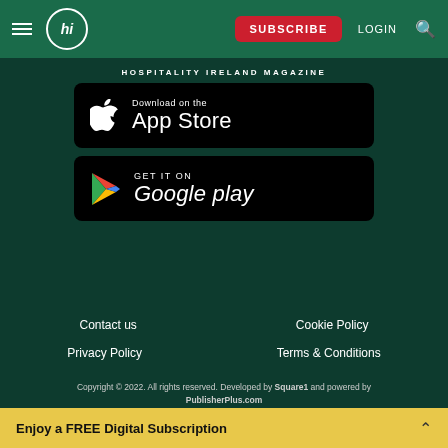hi SUBSCRIBE LOGIN [search]
HOSPITALITY IRELAND MAGAZINE
[Figure (screenshot): Download on the App Store button (black rounded rectangle with Apple logo)]
[Figure (screenshot): GET IT ON Google Play button (black rounded rectangle with Google Play triangle logo)]
Contact us
Cookie Policy
Privacy Policy
Terms & Conditions
Copyright © 2022. All rights reserved. Developed by Square1 and powered by PublisherPlus.com
Enjoy a FREE Digital Subscription